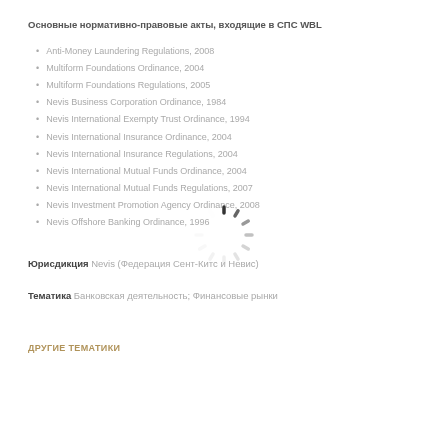Основные нормативно-правовые акты, входящие в СПС WBL
Anti-Money Laundering Regulations, 2008
Multiform Foundations Ordinance, 2004
Multiform Foundations Regulations, 2005
Nevis Business Corporation Ordinance, 1984
Nevis International Exempty Trust Ordinance, 1994
Nevis International Insurance Ordinance, 2004
Nevis International Insurance Regulations, 2004
Nevis International Mutual Funds Ordinance, 2004
Nevis International Mutual Funds Regulations, 2007
Nevis Investment Promotion Agency Ordinance, 2008
Nevis Offshore Banking Ordinance, 1996
Юрисдикция Nevis (Федерация Сент-Китс и Невис)
Тематика Банковская деятельность; Финансовые рынки
ДРУГИЕ ТЕМАТИКИ